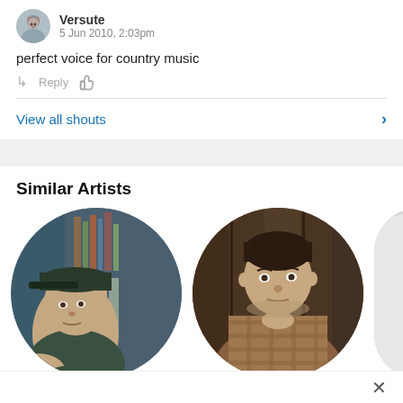Versute · 5 Jun 2010, 2:03pm
perfect voice for country music
↳ Reply 👍
View all shouts
Similar Artists
[Figure (photo): Circular portrait photo of a male artist wearing a dark cap, in a music store setting]
[Figure (photo): Circular portrait photo of a male artist in a plaid shirt leaning against a wooden wall]
[Figure (photo): Partial circular portrait photo, mostly gray/light colored, cut off at right edge]